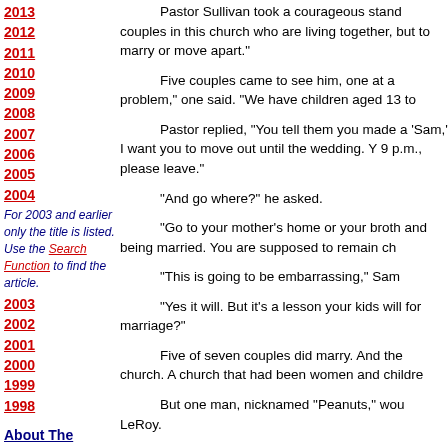2013
2012
2011
2010
2009
2008
2007
2006
2005
2004
For 2003 and earlier only the title is listed. Use the Search Function to find the article.
2003
2002
2001
2000
1999
1998
About The Columnist
Pastor Sullivan took a courageous stand couples in this church who are living together, but to marry or move apart.
Five couples came to see him, one at a problem," one said. "We have children aged 13 to
Pastor replied, "You tell them you made a 'Sam,' I want you to move out until the wedding. Y 9 p.m., please leave."
"And go where?" he asked.
"Go to your mother's home or your broth and being married. You are supposed to remain ch
"This is going to be embarrassing," Sam
"Yes it will. But it's a lesson your kids will for marriage?"
Five of seven couples did marry. And the church. A church that had been women and childre
But one man, nicknamed "Peanuts," wou LeRoy.
The next Friday night, Pastor LeRoy kno
"Cindy tells me you won't marry her, and